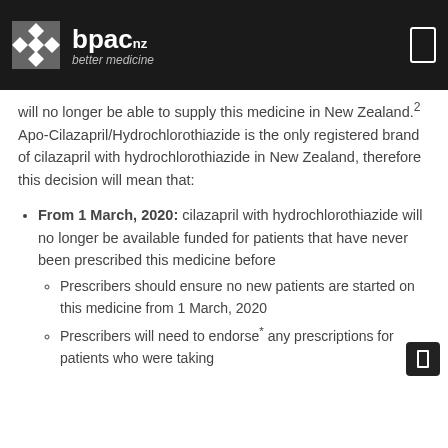bpac nz better medicine
will no longer be able to supply this medicine in New Zealand.² Apo-Cilazapril/Hydrochlorothiazide is the only registered brand of cilazapril with hydrochlorothiazide in New Zealand, therefore this decision will mean that:
From 1 March, 2020: cilazapril with hydrochlorothiazide will no longer be available funded for patients that have never been prescribed this medicine before
Prescribers should ensure no new patients are started on this medicine from 1 March, 2020
Prescribers will need to endorse* any prescriptions for patients who were taking